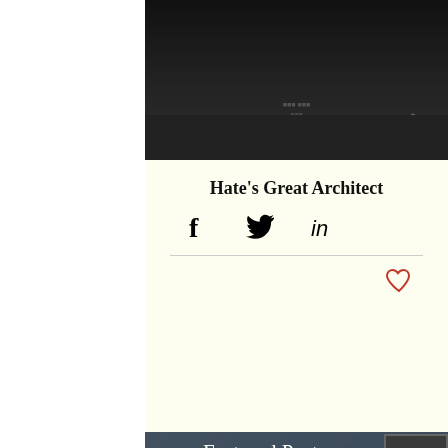[Figure (screenshot): Dark screenshot of a webpage or video content, partially visible at top of page]
Hate's Great Architect
[Figure (other): Social share icons: Facebook (f), Twitter (bird), LinkedIn (in)]
[Figure (other): Heart/like icon in red outline]
Featured Posts
Posts are coming